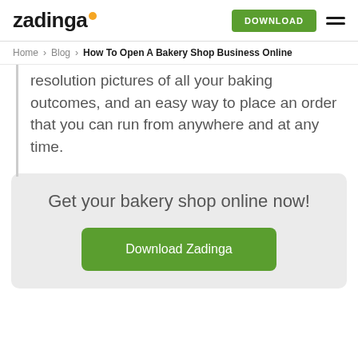zadinga  DOWNLOAD
Home > Blog > How To Open A Bakery Shop Business Online
resolution pictures of all your baking outcomes, and an easy way to place an order that you can run from anywhere and at any time.
Get your bakery shop online now!
Download Zadinga